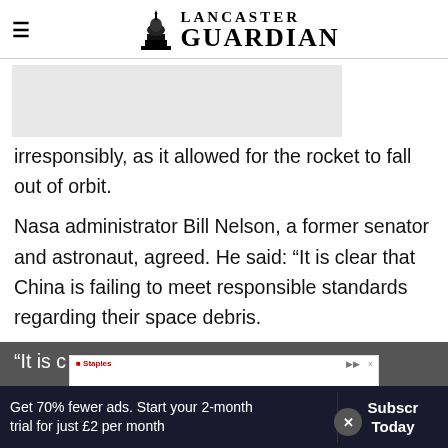Lancaster Guardian
[Figure (photo): Gray image placeholder / partially visible article image]
irresponsibly, as it allowed for the rocket to fall out of orbit.
Nasa administrator Bill Nelson, a former senator and astronaut, agreed. He said: “It is clear that China is failing to meet responsible standards regarding their space debris.
“It is c… [partially hidden by ad banner]
[Figure (other): Staples advertisement banner: THIS IS YOUR SIGN, 25% off signs banners or posters when you spend $75 or more. Get started button.]
Get 70% fewer ads. Start your 2-month trial for just £2 per month
Subscribe Today